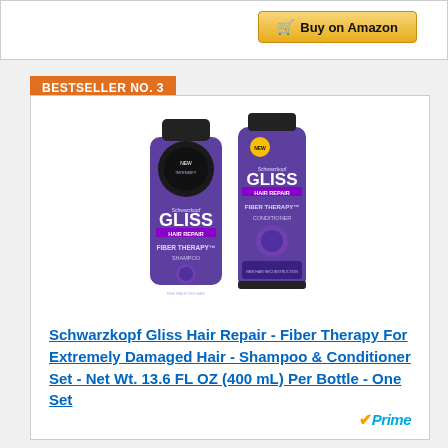[Figure (other): Buy on Amazon button with shopping cart icon, gold/yellow gradient background]
BESTSELLER NO. 3
[Figure (photo): Two Schwarzkopf Gliss Hair Repair Fiber Therapy bottles - a shampoo and conditioner set in purple packaging]
Schwarzkopf Gliss Hair Repair - Fiber Therapy For Extremely Damaged Hair - Shampoo & Conditioner Set - Net Wt. 13.6 FL OZ (400 mL) Per Bottle - One Set
[Figure (logo): Amazon Prime logo with orange checkmark and blue Prime text]